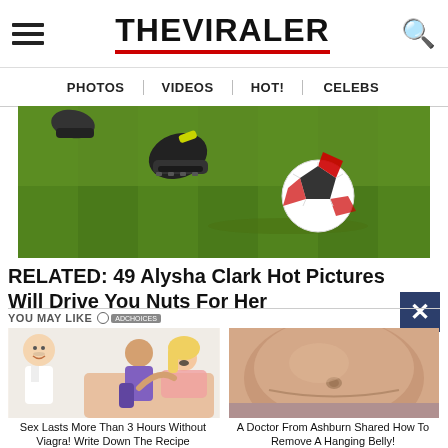THE VIRALER
PHOTOS | VIDEOS | HOT! | CELEBS
[Figure (photo): Soccer player kicking a ball on a grass field, showing cleats and a black-and-red patterned ball]
RELATED: 49 Alysha Clark Hot Pictures Will Drive You Nuts For Her
YOU MAY LIKE
[Figure (illustration): Illustration of a doctor and cartoon couple; ad thumbnail for sex duration remedy]
Sex Lasts More Than 3 Hours Without Viagra! Write Down The Recipe
[Figure (photo): Close-up photo of a person's belly/torso; ad thumbnail for belly removal tip]
A Doctor From Ashburn Shared How To Remove A Hanging Belly!